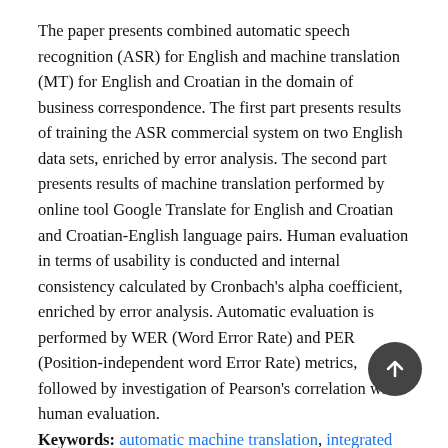The paper presents combined automatic speech recognition (ASR) for English and machine translation (MT) for English and Croatian in the domain of business correspondence. The first part presents results of training the ASR commercial system on two English data sets, enriched by error analysis. The second part presents results of machine translation performed by online tool Google Translate for English and Croatian and Croatian-English language pairs. Human evaluation in terms of usability is conducted and internal consistency calculated by Cronbach's alpha coefficient, enriched by error analysis. Automatic evaluation is performed by WER (Word Error Rate) and PER (Position-independent word Error Rate) metrics, followed by investigation of Pearson's correlation with human evaluation.
Keywords: automatic machine translation, integrated